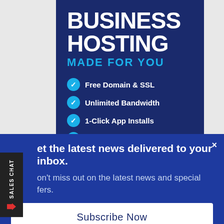BUSINESS HOSTING
MADE FOR YOU
Free Domain & SSL
Unlimited Bandwidth
1-Click App Installs
cPanel License Included
24/7/365 Technical Support
90-Day Money-Back Guarantee
SALES CHAT
et the latest news delivered to your inbox.
on't miss out on the latest news and special fers.
Subscribe Now